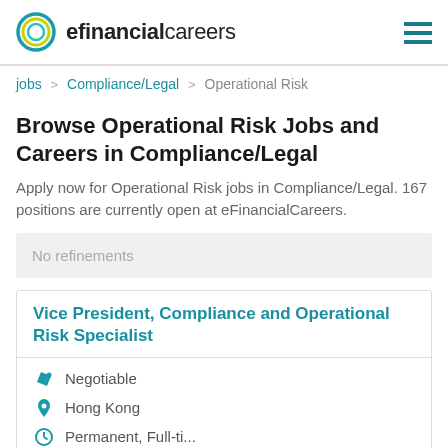efinancialcareers
jobs > Compliance/Legal > Operational Risk
Browse Operational Risk Jobs and Careers in Compliance/Legal
Apply now for Operational Risk jobs in Compliance/Legal. 167 positions are currently open at eFinancialCareers.
No refinements
Vice President, Compliance and Operational Risk Specialist
Negotiable
Hong Kong